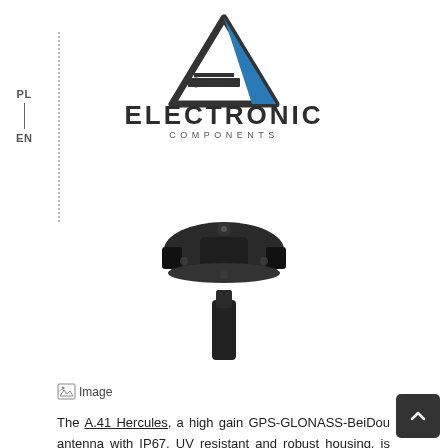[Figure (logo): Electronic Components logo with blue and dark triangle/circuit board icon and text ELECTRONIC COMPONENTS]
[Figure (photo): Black GPS/GNSS antenna (A.41 Hercules) with mushroom-shaped housing and mounting stem, viewed from above-front angle]
[Figure (other): Broken image placeholder icon with label 'Image']
The A.41 Hercules, a high gain GPS-GLONASS-BeiDou antenna with IP67, UV resistant and robust housing, is the latest generation of Hercules GNSS antennas, capable of receiving signals from the next generation receivers for all the main operating global satellite navigation systems in operation today, helping